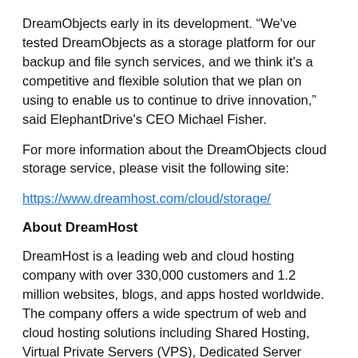DreamObjects early in its development. “We've tested DreamObjects as a storage platform for our backup and file synch services, and we think it's a competitive and flexible solution that we plan on using to enable us to continue to drive innovation,” said ElephantDrive's CEO Michael Fisher.
For more information about the DreamObjects cloud storage service, please visit the following site:
https://www.dreamhost.com/cloud/storage/
About DreamHost
DreamHost is a leading web and cloud hosting company with over 330,000 customers and 1.2 million websites, blogs, and apps hosted worldwide. The company offers a wide spectrum of web and cloud hosting solutions including Shared Hosting, Virtual Private Servers (VPS), Dedicated Server Hosting, Domain Name Registration, and the cloud storage service, DreamObjects˜. Please visit https://www.dreamhost.com/ for